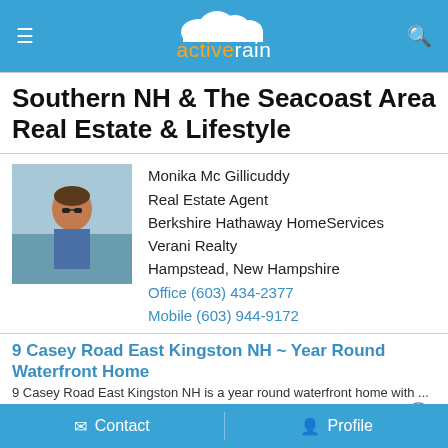activerain
Southern NH & The Seacoast Area Real Estate & Lifestyle
Monika Mc Gillicuddy
Real Estate Agent
Berkshire Hathaway HomeServices
Verani Realty
Hampstead, New Hampshire
Office (603) 434-2377
Mobile (603) 944-9172
9 Casey Road East Kingston NH ~ Year Round Waterfront Home
9 Casey Road East Kingston NH is a year round waterfront home with ...
January 19, 2009 05:29 AM
New Big Island Pond Waterfront listing
A sneak peak of our new waterfront listing on Big Island Pond in De...
Contact   Profile